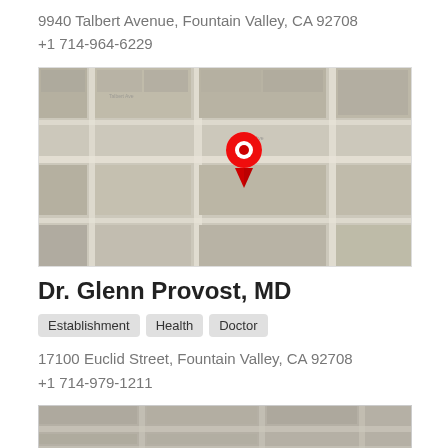9940 Talbert Avenue, Fountain Valley, CA 92708
+1 714-964-6229
[Figure (map): Aerial/satellite map view with a red location pin marker indicating a building location.]
Dr. Glenn Provost, MD
Establishment  Health  Doctor
17100 Euclid Street, Fountain Valley, CA 92708
+1 714-979-1211
[Figure (map): Partial aerial/satellite map view at the bottom of the page.]